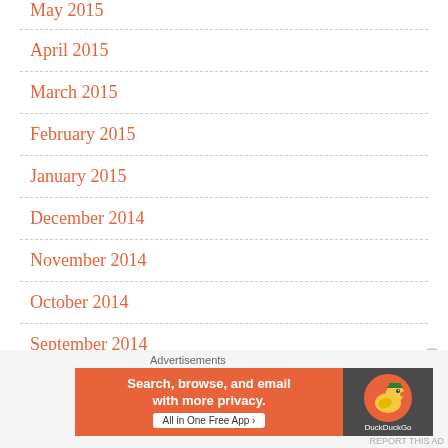May 2015
April 2015
March 2015
February 2015
January 2015
December 2014
November 2014
October 2014
September 2014
[Figure (screenshot): DuckDuckGo advertisement banner: orange left panel with text 'Search, browse, and email with more privacy. All in One Free App', dark right panel with DuckDuckGo logo and duck icon]